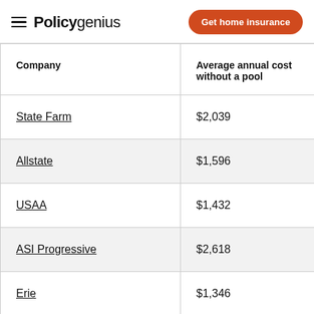Policygenius | Get home insurance
| Company | Average annual cost without a pool | Average annual cost with a pool (truncated) |
| --- | --- | --- |
| State Farm | $2,039 | $2,039 |
| Allstate | $1,596 | $1,597 |
| USAA | $1,432 | $1,432 |
| ASI Progressive | $2,618 | $2,630 |
| Erie | $1,346 | $1,515 |